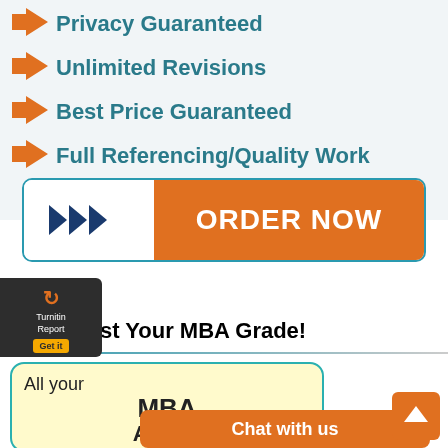Privacy Guaranteed
Unlimited Revisions
Best Price Guaranteed
Full Referencing/Quality Work
[Figure (infographic): Orange ORDER NOW button with chevron arrows on left side, teal border]
[Figure (infographic): Turnitin Report badge with Get it button]
st Your MBA Grade!
[Figure (infographic): Yellow rounded box with text: All your MBA ASSIG (truncated), students photo inside]
[Figure (infographic): Chat with us orange bar]
[Figure (infographic): Scroll-up orange button with up arrow]